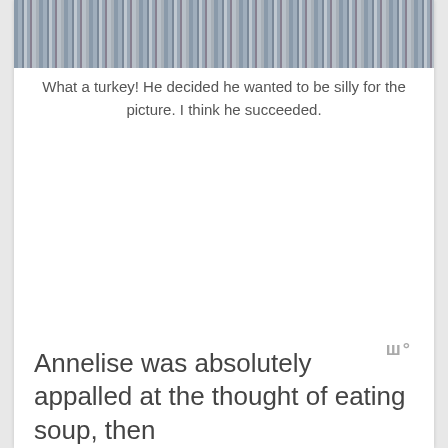[Figure (photo): Partial photo showing striped fabric or clothing with blue/grey tones, cropped at top of page]
What a turkey! He decided he wanted to be silly for the picture. I think he succeeded.
Annelise was absolutely appalled at the thought of eating soup, then